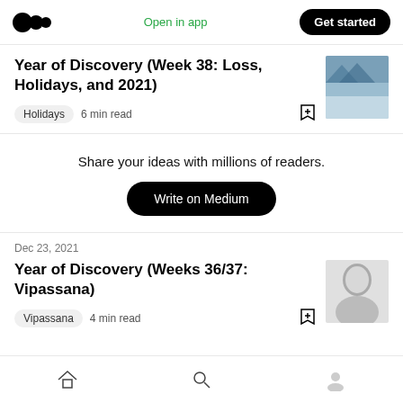Medium logo | Open in app | Get started
Year of Discovery (Week 38: Loss, Holidays, and 2021)
Holidays  6 min read
Share your ideas with millions of readers.
Write on Medium
Dec 23, 2021
Year of Discovery (Weeks 36/37: Vipassana)
Vipassana  4 min read